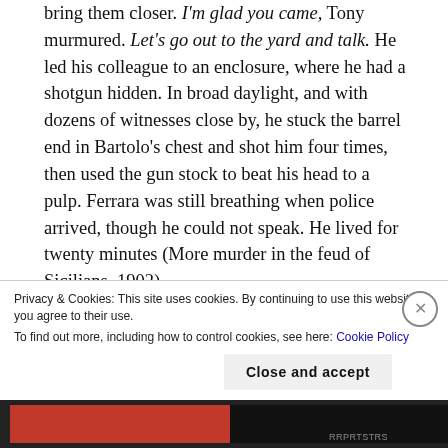bring them closer. I'm glad you came, Tony murmured. Let's go out to the yard and talk. He led his colleague to an enclosure, where he had a shotgun hidden. In broad daylight, and with dozens of witnesses close by, he stuck the barrel end in Bartolo's chest and shot him four times, then used the gun stock to beat his head to a pulp. Ferrara was still breathing when police arrived, though he could not speak. He lived for twenty minutes (More murder in the feud of Sicilians, 1902).
Antonino Luciano evaded indictment in the deaths of Vutera and Gerrachi. but he went to trial for the
Privacy & Cookies: This site uses cookies. By continuing to use this website, you agree to their use.
To find out more, including how to control cookies, see here: Cookie Policy
Close and accept